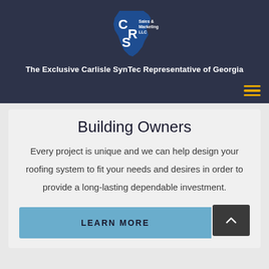[Figure (logo): CRS Sales & Marketing LLC logo — stylized state of Georgia in blue with CRS letters in white and gold text]
The Exclusive Carlisle SynTec Representative of Georgia
Building Owners
Every project is unique and we can help design your roofing system to fit your needs and desires in order to provide a long-lasting dependable investment.
LEARN MORE